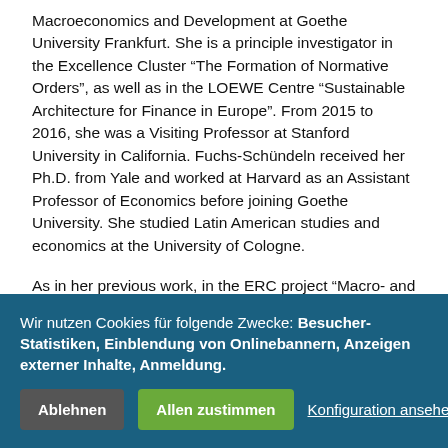Macroeconomics and Development at Goethe University Frankfurt. She is a principle investigator in the Excellence Cluster “The Formation of Normative Orders”, as well as in the LOEWE Centre “Sustainable Architecture for Finance in Europe”. From 2015 to 2016, she was a Visiting Professor at Stanford University in California. Fuchs-Schündeln received her Ph.D. from Yale and worked at Harvard as an Assistant Professor of Economics before joining Goethe University. She studied Latin American studies and economics at the University of Cologne.
As in her previous work, in the ERC project “Macro- and Microeconomic Analyses of Heterogeneous Labor Market Outcomes”, Fuchs-Schündeln remains true to her research style of combining macro- and microeconomic methods. The 46 year-old economist plans to carry out four subprojects; three examine differences in labour market behaviour and success of men and wome... worke... the I... Statis... biogra... glean...
Wir nutzen Cookies für folgende Zwecke: Besucher-Statistiken, Einblendung von Onlinebannern, Anzeigen externer Inhalte, Anmeldung.